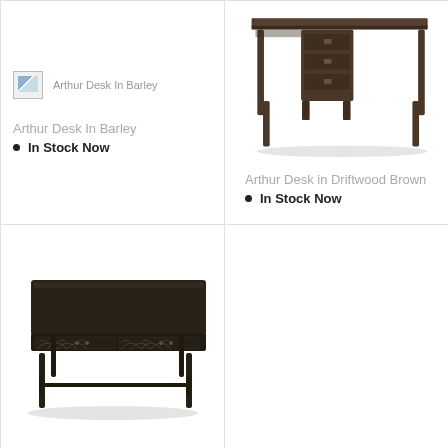[Figure (photo): Broken/missing image placeholder for Arthur Desk In Barley with label text next to it]
Arthur Desk In Barley
In Stock Now
[Figure (photo): Photo of Arthur Desk in Driftwood Brown — a dark wood writing desk with three drawers on one pedestal and tapered legs]
Arthur Desk in Driftwood Brown
In Stock Now
[Figure (photo): Photo of a dark rectangular coffee table with decorative carved geometric pattern on the drawer fronts and thin metal legs]